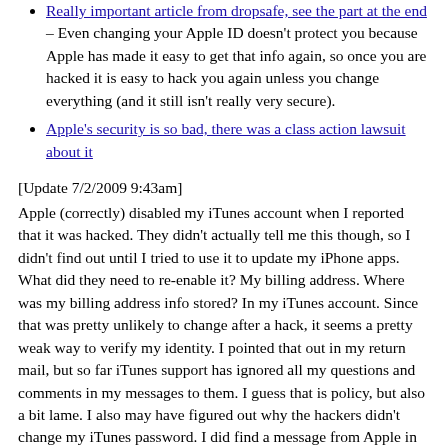Really important article from dropsafe, see the part at the end – Even changing your Apple ID doesn't protect you because Apple has made it easy to get that info again, so once you are hacked it is easy to hack you again unless you change everything (and it still isn't really very secure).
Apple's security is so bad, there was a class action lawsuit about it
[Update 7/2/2009 9:43am]
Apple (correctly) disabled my iTunes account when I reported that it was hacked. They didn't actually tell me this though, so I didn't find out until I tried to use it to update my iPhone apps. What did they need to re-enable it? My billing address. Where was my billing address info stored? In my iTunes account. Since that was pretty unlikely to change after a hack, it seems a pretty weak way to verify my identity. I pointed that out in my return mail, but so far iTunes support has ignored all my questions and comments in my messages to them. I guess that is policy, but also a bit lame. I also may have figured out why the hackers didn't change my iTunes password. I did find a message from Apple in my spam folder notifying me that my password had changed (from when I changed it after getting my account back).
There was enough info in my account that I've had to cancel my credit card, and I'm going to need to be extra vigilant for identity theft going forward. I'm also going to have to change a lot of passwords.